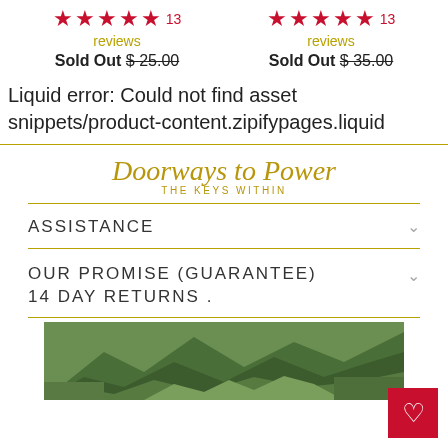★★★★★ 13 reviews  Sold Out $ 25.00  |  ★★★★★ 13 reviews  Sold Out $ 35.00
Liquid error: Could not find asset snippets/product-content.zipifypages.liquid
[Figure (logo): Doorways to Power - THE KEYS WITHIN logo in gold script]
ASSISTANCE
OUR PROMISE (GUARANTEE) 14 DAY RETURNS .
[Figure (photo): Aerial photograph of green mountainous terrain, possibly Machu Picchu area]